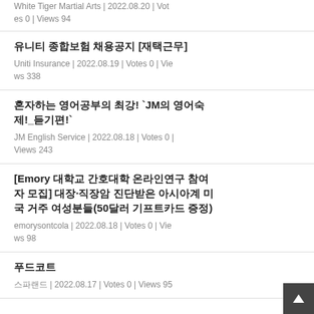White Tiger Martial Arts | 2022.08.20 | Votes 0 | Views 94
유니티 종합보험 채용공지 [재택근무]
Uniti Insurance | 2022.08.19 | Votes 0 | Views 338
혼자하는 영어공부의 최강! `JM의 영어숙제!_듣기편!`
JM English Service | 2022.08.18 | Votes 0 | Views 243
[Emory 대학교 간호대학 온라인연구 참여자 모집] 대장·직장암 진단받은 아시아계 미국 거주 여성분들(50달러 기프트카드 증정)
emorysontcola | 2022.08.18 | Votes 0 | Views 98
푸드코트
스파랜드 | 2022.08.17 | Votes 0 | Views 95